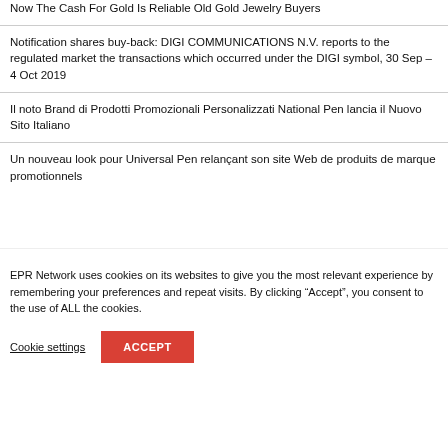Now The Cash For Gold Is Reliable Old Gold Jewelry Buyers
Notification shares buy-back: DIGI COMMUNICATIONS N.V. reports to the regulated market the transactions which occurred under the DIGI symbol, 30 Sep – 4 Oct 2019
Il noto Brand di Prodotti Promozionali Personalizzati National Pen lancia il Nuovo Sito Italiano
Un nouveau look pour Universal Pen relançant son site Web de produits de marque promotionnels
EPR Network uses cookies on its websites to give you the most relevant experience by remembering your preferences and repeat visits. By clicking “Accept”, you consent to the use of ALL the cookies.